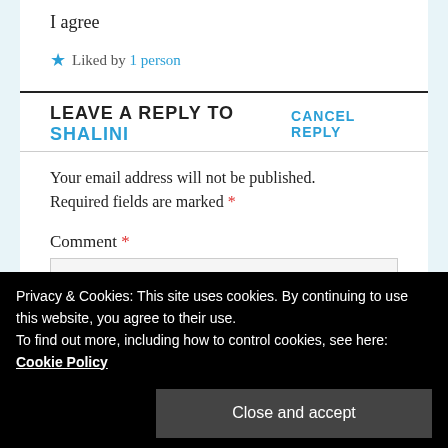I agree
★ Liked by 1 person
LEAVE A REPLY TO SHALINI      CANCEL REPLY
Your email address will not be published. Required fields are marked *
Comment *
Privacy & Cookies: This site uses cookies. By continuing to use this website, you agree to their use. To find out more, including how to control cookies, see here: Cookie Policy
Close and accept